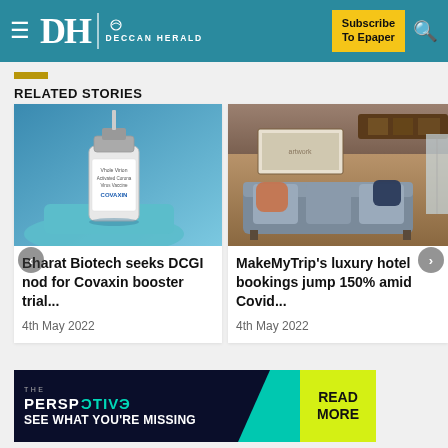DH DECCAN HERALD — Subscribe To Epaper
RELATED STORIES
[Figure (photo): Covaxin vaccine vial on blue surface]
Bharat Biotech seeks DCGI nod for Covaxin booster trial...
4th May 2022
[Figure (photo): Luxury hotel room interior with gray sofa and cushions]
MakeMyTrip's luxury hotel bookings jump 150% amid Covid...
4th May 2022
[Figure (infographic): THE PERSPECTIVE — SEE WHAT YOU'RE MISSING — READ MORE advertisement banner]